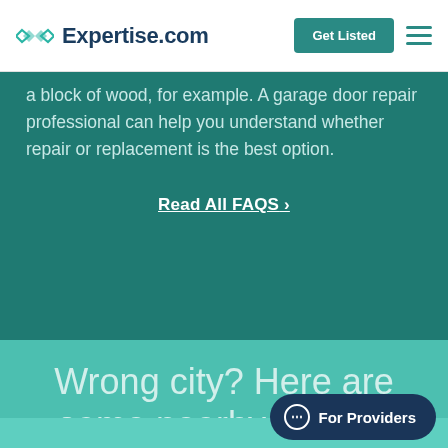Expertise.com | Get Listed
a block of wood, for example. A garage door repair professional can help you understand whether repair or replacement is the best option.
Read All FAQS ›
Wrong city? Here are some nearby places:
For Providers